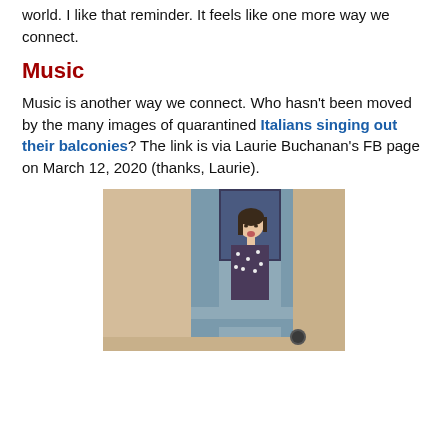world.  I like that reminder. It feels like one more way we connect.
Music
Music is another way we connect.  Who hasn't been moved by the many images of quarantined Italians singing out their balconies?  The link is via Laurie Buchanan's FB page on March 12, 2020 (thanks, Laurie).
[Figure (photo): A woman singing from a window with blue shutters on the facade of a building]